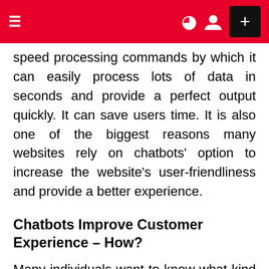≡  ☾ 👤 +
speed processing commands by which it can easily process lots of data in seconds and provide a perfect output quickly. It can save users time. It is also one of the biggest reasons many websites rely on chatbots' option to increase the website's user-friendliness and provide a better experience.
Chatbots Improve Customer Experience – How?
Many individuals want to know what kind of features and things can be useful in improving the website's customer experience with the help of chatbots. Here, we are going to discuss some major aspects.